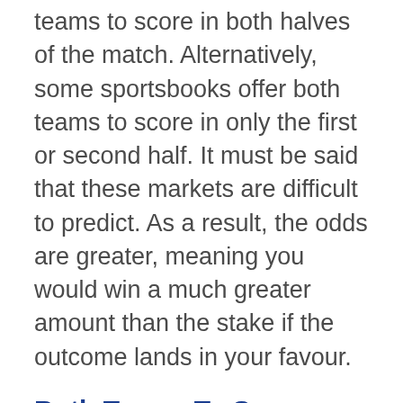teams to score in both halves of the match. Alternatively, some sportsbooks offer both teams to score in only the first or second half. It must be said that these markets are difficult to predict. As a result, the odds are greater, meaning you would win a much greater amount than the stake if the outcome lands in your favour.
Both Teams To Score Over/Under
This is a wager that combines the Both Teams To Score market and the Over/Under market. Both outcomes would need to be predicted correctly (that is – if both teams would score, or not, and if the total number of goals is over or under a